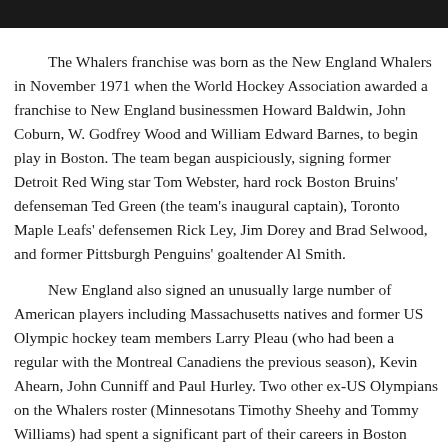[Figure (photo): Dark/black image strip at the top of the page]
The Whalers franchise was born as the New England Whalers in November 1971 when the World Hockey Association awarded a franchise to New England businessmen Howard Baldwin, John Coburn, W. Godfrey Wood and William Edward Barnes, to begin play in Boston. The team began auspiciously, signing former Detroit Red Wing star Tom Webster, hard rock Boston Bruins' defenseman Ted Green (the team's inaugural captain), Toronto Maple Leafs' defensemen Rick Ley, Jim Dorey and Brad Selwood, and former Pittsburgh Penguins' goaltender Al Smith.
New England also signed an unusually large number of American players including Massachusetts natives and former US Olympic hockey team members Larry Pleau (who had been a regular with the Montreal Canadiens the previous season), Kevin Ahearn, John Cunniff and Paul Hurley. Two other ex-US Olympians on the Whalers roster (Minnesotans Timothy Sheehy and Tommy Williams) had spent a significant part of their careers in Boston with Boston College and the Bruins, respectively. The Whalers would have the